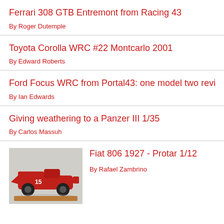Ferrari 308 GTB Entremont from Racing 43
By Roger Dutemple
Toyota Corolla WRC #22 Montcarlo 2001
By Edward Roberts
Ford Focus WRC from Portal43: one model two review
By Ian Edwards
Giving weathering to a Panzer III 1/35
By Carlos Massuh
[Figure (photo): A red vintage Fiat 806 1927 model car on a wooden base, viewed from the side]
Fiat 806 1927 - Protar 1/12
By Rafael Zambrino